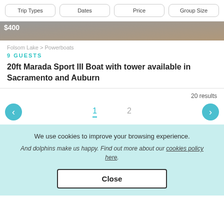Trip Types | Dates | Price | Group Size
[Figure (photo): Partial boat image with price overlay showing $400]
Folsom Lake > Powerboats
9 GUESTS
20ft Marada Sport III Boat with tower available in Sacramento and Auburn
20 results
1  2
We use cookies to improve your browsing experience.
And dolphins make us happy. Find out more about our cookies policy here.
Close